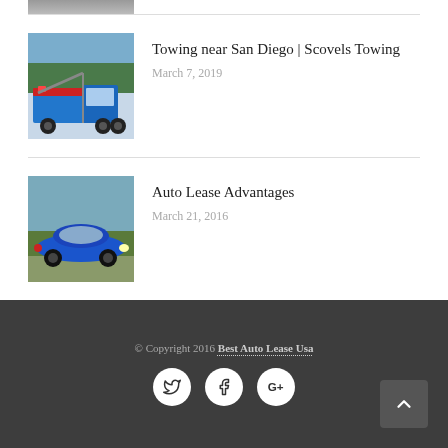[Figure (photo): Partial tow truck image at top, cropped]
Towing near San Diego | Scovels Towing
March 7, 2019
[Figure (photo): Blue tow truck with lights]
Auto Lease Advantages
March 21, 2016
[Figure (photo): Blue sports car side view]
© Copyright 2016 Best Auto Lease Usa